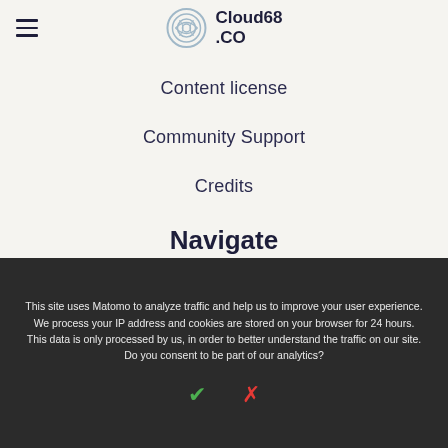Cloud68.co
Content license
Community Support
Credits
Navigate
Newsletter
This site uses Matomo to analyze traffic and help us to improve your user experience. We process your IP address and cookies are stored on your browser for 24 hours. This data is only processed by us, in order to better understand the traffic on our site. Do you consent to be part of our analytics?